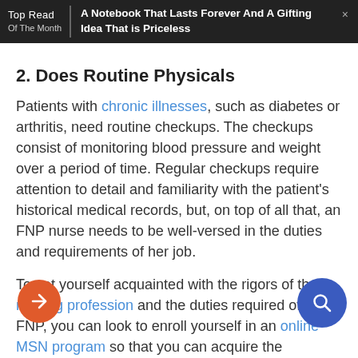Top Read Of The Month | A Notebook That Lasts Forever And A Gifting Idea That is Priceless ×
2. Does Routine Physicals
Patients with chronic illnesses, such as diabetes or arthritis, need routine checkups. The checkups consist of monitoring blood pressure and weight over a period of time. Regular checkups require attention to detail and familiarity with the patient's historical medical records, but, on top of all that, an FNP nurse needs to be well-versed in the duties and requirements of her job.
To get yourself acquainted with the rigors of the nursing profession and the duties required of an FNP, you can look to enroll yourself in an online MSN program so that you can acquire the qualification as